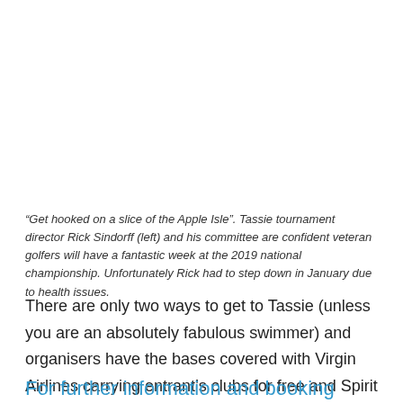“Get hooked on a slice of the Apple Isle”. Tassie tournament director Rick Sindorff (left) and his committee are confident veteran golfers will have a fantastic week at the 2019 national championship. Unfortunately Rick had to step down in January due to health issues.
There are only two ways to get to Tassie (unless you are an absolutely fabulous swimmer) and organisers have the bases covered with Virgin Airlines carrying entrant’s clubs for free and Spirit of Tasmania ferry offering special rates for golfers.
For further information and booking details